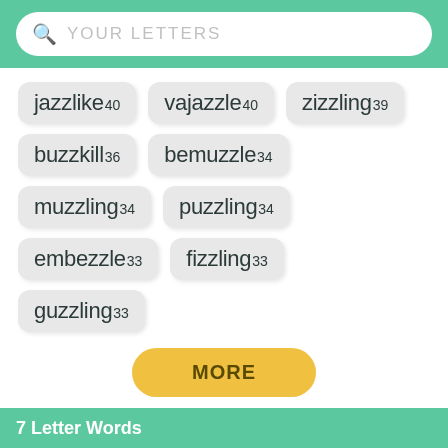YOUR LETTERS
jazzlike 40
vajazzle 40
zizzling 39
buzzkill 36
bemuzzle 34
muzzling 34
puzzling 34
embezzle 33
fizzling 33
guzzling 33
MORE
7 Letter Words